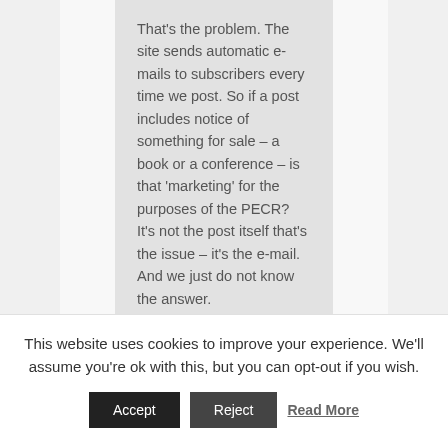That's the problem. The site sends automatic e-mails to subscribers every time we post. So if a post includes notice of something for sale – a book or a conference – is that 'marketing' for the purposes of the PECR? It's not the post itself that's the issue – it's the e-mail. And we just do not know the answer.
Reply ↓
This website uses cookies to improve your experience. We'll assume you're ok with this, but you can opt-out if you wish.
Accept
Reject
Read More